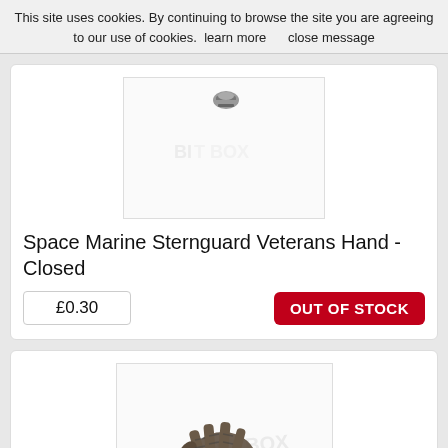This site uses cookies. By continuing to browse the site you are agreeing to our use of cookies.  learn more     close message
[Figure (photo): Product image of Space Marine Sternguard Veterans Hand - Closed, a small metal miniature piece, shown on white background with watermark]
Space Marine Sternguard Veterans Hand - Closed
£0.30
OUT OF STOCK
[Figure (photo): Product image of Space Marine Sternguard Veterans Hand - Open, a small metal miniature piece showing an open armored hand, on white background with watermark]
Space Marine Sternguard Veterans Hand - O...
£0.30
OUT OF STOCK